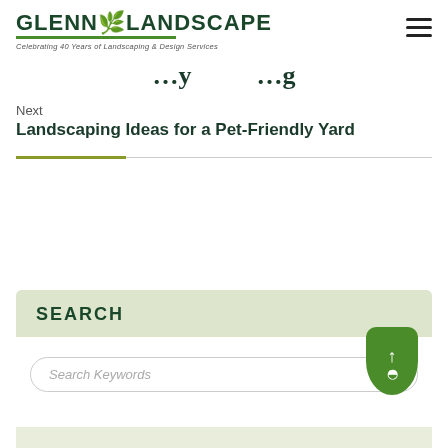GLENN LANDSCAPE — Celebrating 40 Years of Landscaping & Design Services
…y …g
Next
Landscaping Ideas for a Pet-Friendly Yard
SEARCH
Search Keywords